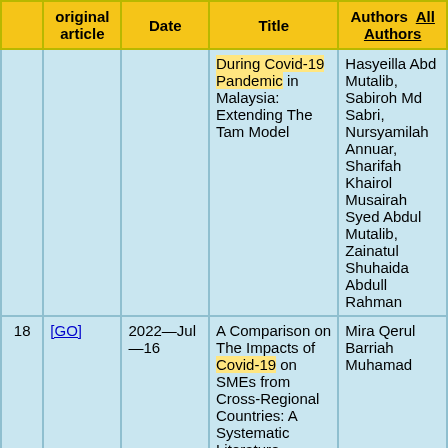|  | original article | Date | Title | Authors  All Authors |
| --- | --- | --- | --- | --- |
|  |  |  | During Covid-19 Pandemic in Malaysia: Extending The Tam Model | Hasyeilla Abd Mutalib, Sabiroh Md Sabri, Nursyamilah Annuar, Sharifah Khairol Musairah Syed Abdul Mutalib, Zainatul Shuhaida Abdull Rahman |
| 18 | [GO] | 2022—Jul—16 | A Comparison on The Impacts of Covid-19 on SMEs from Cross-Regional Countries: A Systematic Literature Review | Mira Qerul Barriah Muhamad |
| 19 | [GO] | 2022—Jul—16 | Forecasting | Siti Sarah |